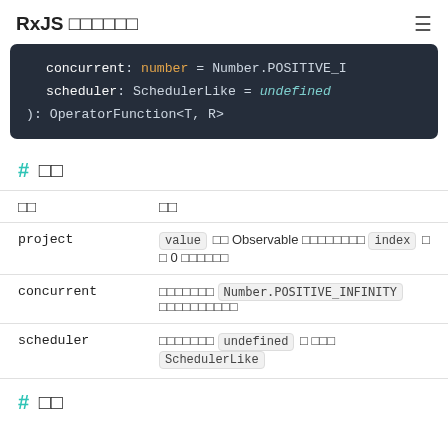RxJS □□□□□□ ≡
[Figure (screenshot): Code block showing: concurrent: number = Number.POSITIVE_I / scheduler: SchedulerLike = undefined / ): OperatorFunction<T, R>]
# □□
| □□ | □□ |
| --- | --- |
| project | value □□ Observable □□□□□□□□ index □ □ 0 □□□□□□ |
| concurrent | □□□□□□□ Number.POSITIVE_INFINITY □□□□□□□□□□ |
| scheduler | □□□□□□□ undefined □ □□□ SchedulerLike |
# □□